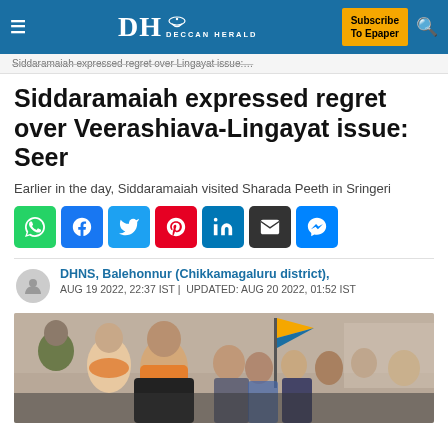DH DECCAN HERALD | Subscribe To Epaper
Siddaramaiah expressed regret over Lingayat issue:…
Siddaramaiah expressed regret over Veerashiava-Lingayat issue: Seer
Earlier in the day, Siddaramaiah visited Sharada Peeth in Sringeri
[Figure (infographic): Social media sharing icons: WhatsApp, Facebook, Twitter, Pinterest, LinkedIn, Email, Messenger]
DHNS, Balehonnur (Chikkamagaluru district),
AUG 19 2022, 22:37 IST | UPDATED: AUG 20 2022, 01:52 IST
[Figure (photo): Photo of Siddaramaiah with group of people, with a flag visible in the background]